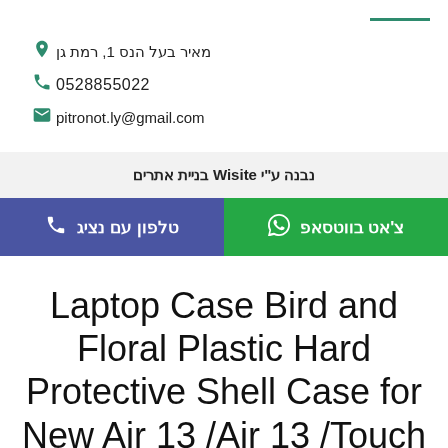מאיר בעל הנס 1, רמת גן
0528855022
pitronot.ly@gmail.com
נבנה ע"י Wisite בניית אתרים
טלפון עם נציג
צ'אט בווטסאפ
Laptop Case Bird and Floral Plastic Hard Protective Shell Case for New Air 13 /Air 13 /Touch 13 /Touch 15 Case Laptop Cover